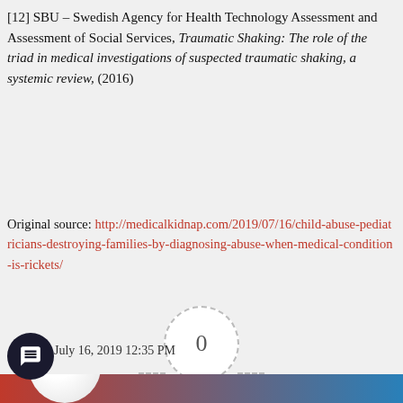[12] SBU – Swedish Agency for Health Technology Assessment and Assessment of Social Services, Traumatic Shaking: The role of the triad in medical investigations of suspected traumatic shaking, a systemic review, (2016)
Original source: http://medicalkidnap.com/2019/07/16/child-abuse-pediatricians-destroying-families-by-diagnosing-abuse-when-medical-condition-is-rickets/
[Figure (other): Article rating widget showing a dashed circle with '0' in the center, dashed horizontal lines extending to either side, star icons flanking an 'Article Rating' label, and a dark scroll-up button with a chevron arrow.]
July 16, 2019 12:35 PM